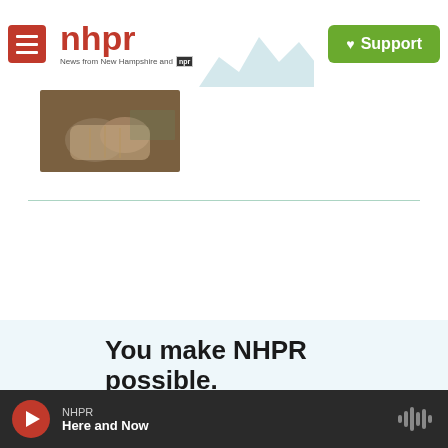nhpr — News from New Hampshire and NPR | Support
[Figure (screenshot): Thumbnail image of hands]
You make NHPR possible.
NHPR is nonprofit and independent. We rely on readers like you to support the local, national, and international coverage on this
NHPR — Here and Now